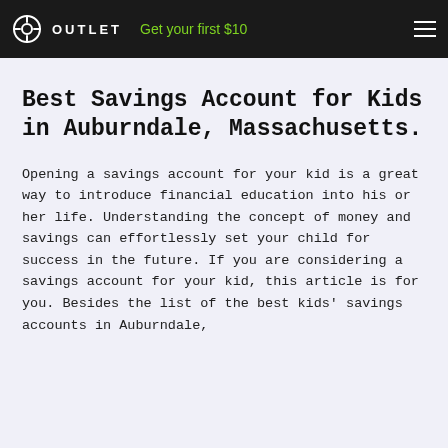OUTLET — Get your first $10
Best Savings Account for Kids in Auburndale, Massachusetts.
Opening a savings account for your kid is a great way to introduce financial education into his or her life. Understanding the concept of money and savings can effortlessly set your child for success in the future. If you are considering a savings account for your kid, this article is for you. Besides the list of the best kids' savings accounts in Auburndale,